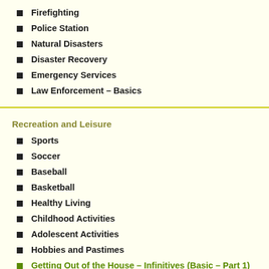Firefighting
Police Station
Natural Disasters
Disaster Recovery
Emergency Services
Law Enforcement – Basics
Recreation and Leisure
Sports
Soccer
Baseball
Basketball
Healthy Living
Childhood Activities
Adolescent Activities
Hobbies and Pastimes
Getting Out of the House – Infinitives (Basic – Part 1)